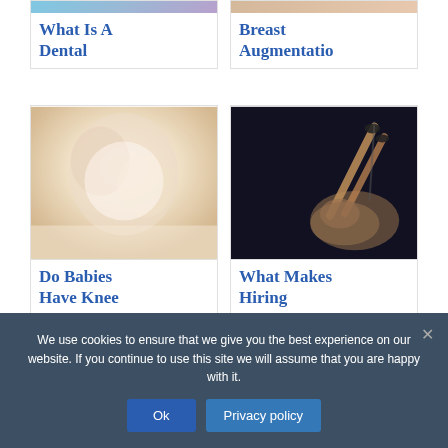[Figure (photo): Partial top of dental-related image (blue/purple tones), cropped at top]
[Figure (photo): Partial top of breast augmentation image (skin tones), cropped at top]
What Is A Dental
Breast Augmentatio
[Figure (photo): Adult holding baby, warm light tones, intimate close-up photograph]
[Figure (photo): Woman posing against dark background with legs raised, artistic pose]
Do Babies Have Knee
What Makes Hiring
Filed Under: Health
We use cookies to ensure that we give you the best experience on our website. If you continue to use this site we will assume that you are happy with it.
Ok
Privacy policy